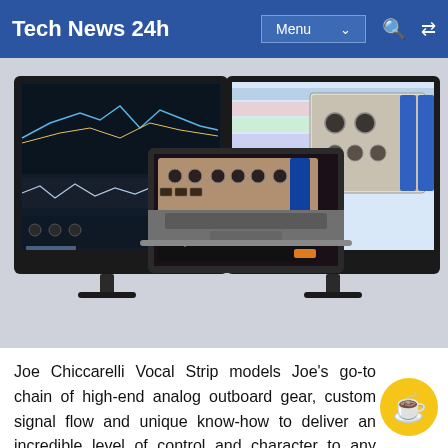Tech News 24h | Menu
[Figure (screenshot): Two desktop monitors and a laptop in the center, all displaying music production and audio software interfaces including an equalizer/plugin on the left monitor, a DAW (Pro Tools-like) on the right monitor, and an audio plugin on the laptop screen.]
Joe Chiccarelli Vocal Strip models Joe's go-to chain of high-end analog outboard gear, custom signal flow and unique know-how to deliver an incredible level of control and character to any style of vocal tracks.